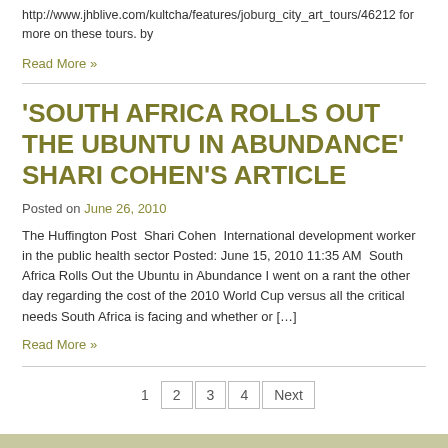http://www.jhblive.com/kultcha/features/joburg_city_art_tours/46212 for more on these tours. by
Read More »
'SOUTH AFRICA ROLLS OUT THE UBUNTU IN ABUNDANCE' SHARI COHEN'S ARTICLE
Posted on June 26, 2010
The Huffington Post  Shari Cohen  International development worker in the public health sector Posted: June 15, 2010 11:35 AM  South Africa Rolls Out the Ubuntu in Abundance I went on a rant the other day regarding the cost of the 2010 World Cup versus all the critical needs South Africa is facing and whether or […]
Read More »
1 2 3 4 Next